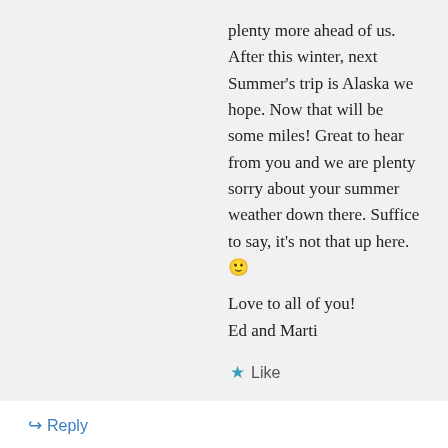plenty more ahead of us. After this winter, next Summer's trip is Alaska we hope. Now that will be some miles! Great to hear from you and we are plenty sorry about your summer weather down there. Suffice to say, it's not that up here. 🙂
Love to all of you!
Ed and Marti
★ Like
↪ Reply
sashaweekes on August 5, 2017 at 11:55 am
Great post! Recently did this trip and posted about it as well and also had some fog issues! Hoping to go back on a sunny week...